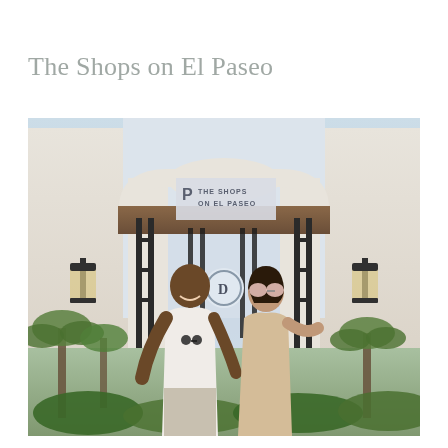The Shops on El Paseo
[Figure (photo): A couple walking and smiling in front of the entrance of The Shops on El Paseo, a Mediterranean-style white building with decorative ironwork gates, wall lanterns, palm trees, and a sign reading 'THE SHOPS ON EL PASEO']